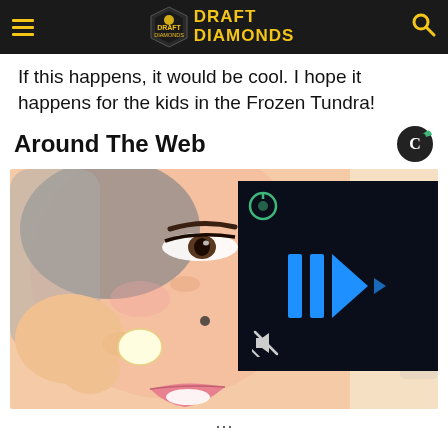DRAFT DIAMONDS
If this happens, it would be cool. I hope it happens for the kids in the Frozen Tundra!
Around The Web
[Figure (illustration): Composite image: animated-style illustration of a woman's face being touched by a hand holding something small, overlaid with a dark video player panel showing blue play/forward chevron icons and a mute icon]